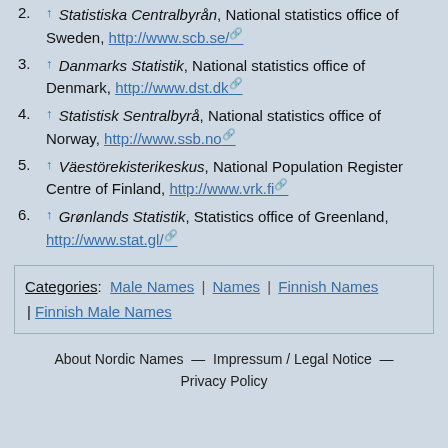2. ↑ Statistiska Centralbyrån, National statistics office of Sweden, http://www.scb.se/
3. ↑ Danmarks Statistik, National statistics office of Denmark, http://www.dst.dk
4. ↑ Statistisk Sentralbyrå, National statistics office of Norway, http://www.ssb.no
5. ↑ Väestörekisterikeskus, National Population Register Centre of Finland, http://www.vrk.fi
6. ↑ Grønlands Statistik, Statistics office of Greenland, http://www.stat.gl/
Categories: Male Names | Names | Finnish Names | Finnish Male Names
About Nordic Names — Impressum / Legal Notice — Privacy Policy